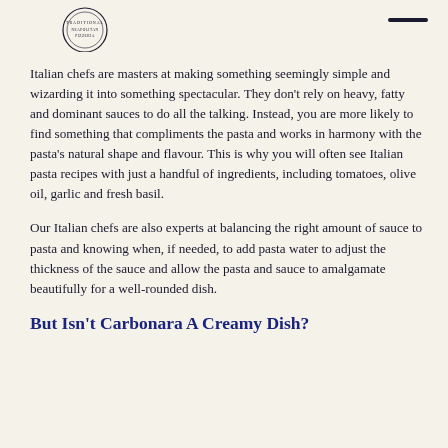[Figure (logo): Circular logo with text 'Traditional Neapolitan Pizzeria']
Italian chefs are masters at making something seemingly simple and wizarding it into something spectacular. They don't rely on heavy, fatty and dominant sauces to do all the talking. Instead, you are more likely to find something that compliments the pasta and works in harmony with the pasta's natural shape and flavour. This is why you will often see Italian pasta recipes with just a handful of ingredients, including tomatoes, olive oil, garlic and fresh basil.
Our Italian chefs are also experts at balancing the right amount of sauce to pasta and knowing when, if needed, to add pasta water to adjust the thickness of the sauce and allow the pasta and sauce to amalgamate beautifully for a well-rounded dish.
But Isn't Carbonara A Creamy Dish?